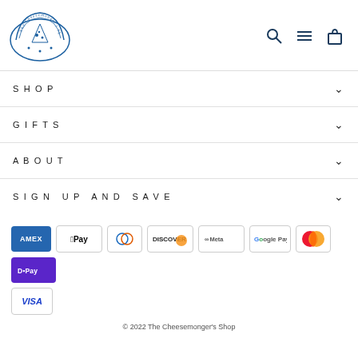[Figure (logo): The Cheesemonger's Shop logo — oval/fan shape with blue line art and text]
SHOP
GIFTS
ABOUT
SIGN UP AND SAVE
[Figure (other): Payment method icons: American Express, Apple Pay, Diners Club, Discover, Meta Pay, Google Pay, Mastercard, Shop Pay, Visa]
© 2022 The Cheesemonger's Shop